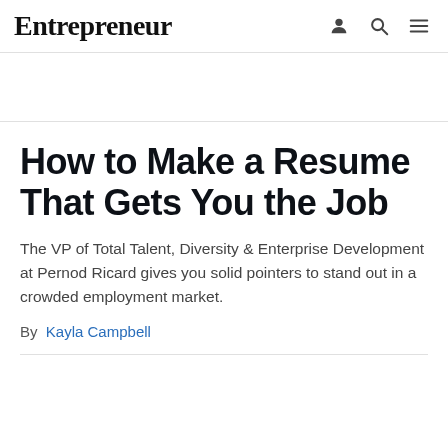Entrepreneur
How to Make a Resume That Gets You the Job
The VP of Total Talent, Diversity & Enterprise Development at Pernod Ricard gives you solid pointers to stand out in a crowded employment market.
By Kayla Campbell